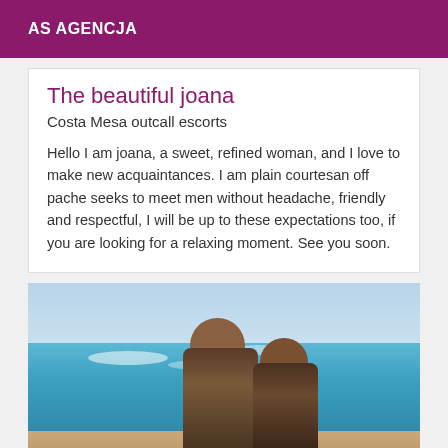AS AGENCJA
The beautiful joana
Costa Mesa outcall escorts
Hello I am joana, a sweet, refined woman, and I love to make new acquaintances. I am plain courtesan off pache seeks to meet men without headache, friendly and respectful, I will be up to these expectations too, if you are looking for a relaxing moment. See you soon.
[Figure (photo): Two people at a beach with blue water and sky in the background]